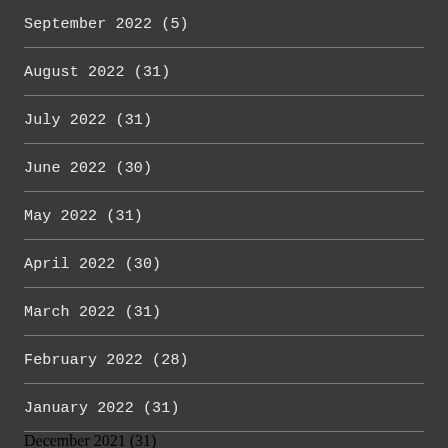September 2022 (5)
August 2022 (31)
July 2022 (31)
June 2022 (30)
May 2022 (31)
April 2022 (30)
March 2022 (31)
February 2022 (28)
January 2022 (31)
December 2021 (31)